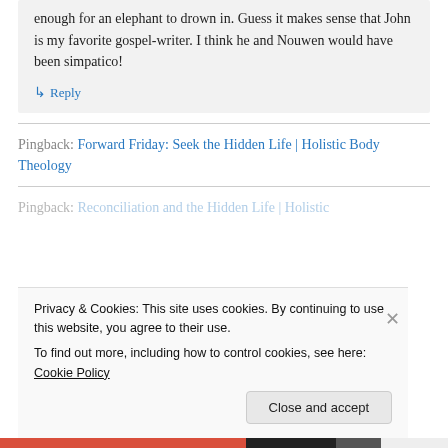enough for an elephant to drown in. Guess it makes sense that John is my favorite gospel-writer. I think he and Nouwen would have been simpatico!
↳ Reply
Pingback: Forward Friday: Seek the Hidden Life | Holistic Body Theology
Pingback: Reconciliation and the Hidden Life | Holistic
Privacy & Cookies: This site uses cookies. By continuing to use this website, you agree to their use. To find out more, including how to control cookies, see here: Cookie Policy
Close and accept